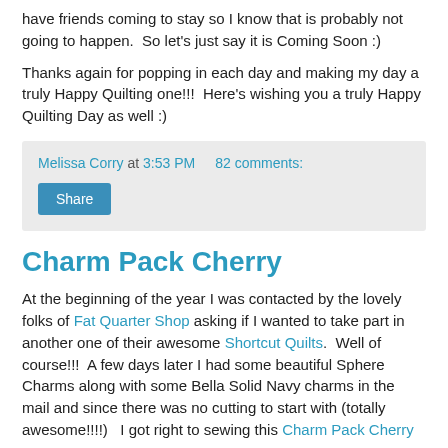have friends coming to stay so I know that is probably not going to happen.  So let's just say it is Coming Soon :)
Thanks again for popping in each day and making my day a truly Happy Quilting one!!!  Here's wishing you a truly Happy Quilting Day as well :)
Melissa Corry at 3:53 PM    82 comments:
Share
Charm Pack Cherry
At the beginning of the year I was contacted by the lovely folks of Fat Quarter Shop asking if I wanted to take part in another one of their awesome Shortcut Quilts.  Well of course!!!  A few days later I had some beautiful Sphere Charms along with some Bella Solid Navy charms in the mail and since there was no cutting to start with (totally awesome!!!!)   I got right to sewing this Charm Pack Cherry